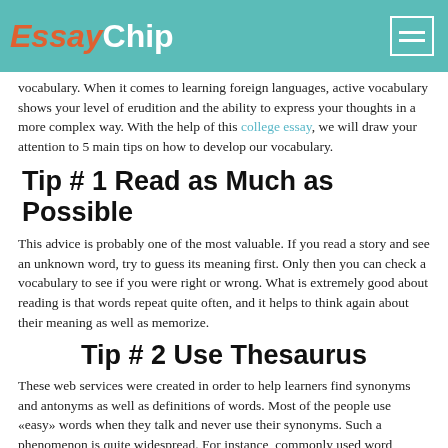EssayChip
vocabulary. When it comes to learning foreign languages, active vocabulary shows your level of erudition and the ability to express your thoughts in a more complex way. With the help of this college essay, we will draw your attention to 5 main tips on how to develop our vocabulary.
Tip # 1 Read as Much as Possible
This advice is probably one of the most valuable. If you read a story and see an unknown word, try to guess its meaning first. Only then you can check a vocabulary to see if you were right or wrong. What is extremely good about reading is that words repeat quite often, and it helps to think again about their meaning as well as memorize.
Tip # 2 Use Thesaurus
These web services were created in order to help learners find synonyms and antonyms as well as definitions of words. Most of the people use «easy» words when they talk and never use their synonyms. Such a phenomenon is quite widespread. For instance, commonly used word combination, I think, can be